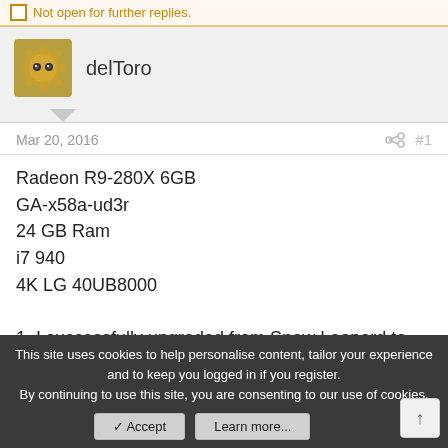Not open for further replies.
delToro
Mar 20, 2016   #1
Radeon R9-280X 6GB
GA-x58a-ud3r
24 GB Ram
i7 940
4K LG 40UB8000

1. I successfully upgraded from Snow Leopard to Mavericks 10.9.5
on new SSD. No problem w/ Mavericks.
This site uses cookies to help personalise content, tailor your experience and to keep you logged in if you register.
By continuing to use this site, you are consenting to our use of cookies.
Accept   Learn more...